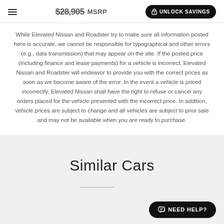$28,905 MSRP | UNLOCK SAVINGS
While Elevated Nissan and Roadster try to make sure all information posted here is accurate, we cannot be responsible for typographical and other errors (e.g., data transmission) that may appear on the site. If the posted price (including finance and lease payments) for a vehicle is incorrect, Elevated Nissan and Roadster will endeavor to provide you with the correct prices as soon as we become aware of the error. In the event a vehicle is priced incorrectly, Elevated Nissan shall have the right to refuse or cancel any orders placed for the vehicle presented with the incorrect price. In addition, vehicle prices are subject to change and all vehicles are subject to prior sale and may not be available when you are ready to purchase.
Similar Cars